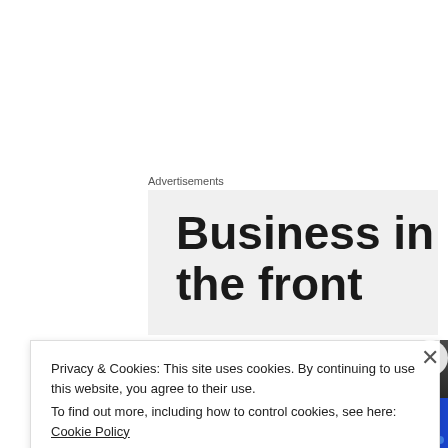Advertisements
[Figure (screenshot): Advertisement banner showing large bold text 'Business in the front' on a light grey background]
[Figure (screenshot): Media player bar showing 'O' icon and title 'Glenn Miller - Tiger Rag' with dots menu, over a blue abstract music visual background]
Privacy & Cookies: This site uses cookies. By continuing to use this website, you agree to their use.
To find out more, including how to control cookies, see here: Cookie Policy
Close and accept
DuckDuckGo